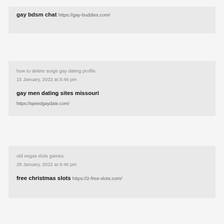gay bdsm chat https://gay-buddies.com/
how to delete surge gay dating profile
15 January, 2022 at 8:46 pm
gay men dating sites missouri
https://speedgaydate.com/
old vegas slots games
28 January, 2022 at 6:46 pm
free christmas slots https://2-free-slots.com/
play blazing 7 slots free